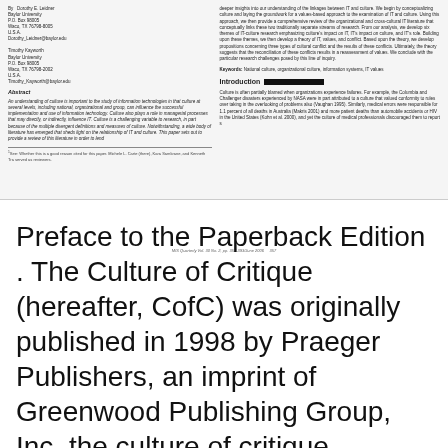By Dorothy E. Leidner, Baylor University, P.O. Box 98005, Waco, TX 76798-8005, U.S.A., Dorothy_Leidner@baylor.edu

Timothy Kayworth, Baylor University, P.O. Box 98005, Waco, TX 76798-2002, U.S.A., Timothy_Kayworth@baylor.edu
Abstract
An understanding of culture is important to the study of information technologies in that culture at several levels, including national, organizational and group, can influence the successful implementation and use of information technology. Culture also plays a role in managerial processes that may directly, or indirectly, influence IT. Culture is a challenging variable to research, in part because of the multiple divergent definitions and measures of culture. Notwithstanding, a wide body of literature has emerged that sheds light on the relationship of IT and culture. This paper sets out to provide a review of this literature in order to lend deeper insights into our understanding of the linkages between IT and culture. We begin by conceptualizing culture and laying the groundwork for a values-based approach to the examination of IT and culture. Using this approach, we then provide a comprehensive review of the organizational and cross-cultural IT literature that conceptually links these two traditionally separate streams of research. From our analysis, we develop six themes of IT-culture research emphasizing culture's impact on IT, IT's impact on culture, and IT's role. Building upon these themes, we then develop a theory of IT, values, and conflict. Based upon the theory, we develop propositions concerning three types of cultural conflict and the results of these conflicts. Ultimately, the theory suggests that the reconciliation of these conflicts results in a reassessment of values. We conclude with the particular research challenges posed by this line of inquiry.
Keywords: National culture, organizational culture, information systems, IT values
Introduction
Culture is often partially blamed when organizations experience failures. For example, the Columbia and Challenger disasters experienced by NASA were in part attributed to a culture that valued conformity to rules over taking in the overlooking of problems also (Vaughan 1995). Similarly, medical errors were responsible for 1.1 percent of all deaths in Australia (Makris 2001) and more patient deaths than automobile accidents or HIV in the United States (Kohn et al. 2000), and yet the culture of medical professionals discouraged them to report such errors.
MIS Quarterly Vol. 30 No. 2, pp. 357-393/June 2006    357
Preface to the Paperback Edition . The Culture of Critique (hereafter, CofC) was originally published in 1998 by Praeger Publishers, an imprint of Greenwood Publishing Group, Inc. the culture of critique Download the culture of critique